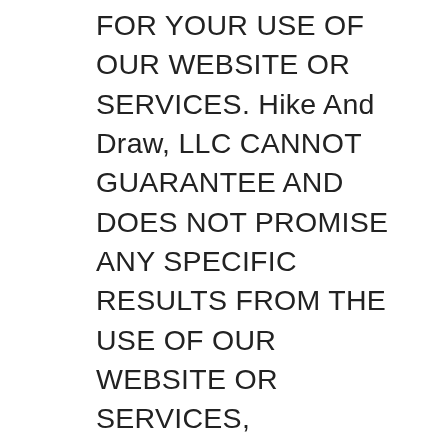FOR YOUR USE OF OUR WEBSITE OR SERVICES. Hike And Draw, LLC CANNOT GUARANTEE AND DOES NOT PROMISE ANY SPECIFIC RESULTS FROM THE USE OF OUR WEBSITE OR SERVICES, INCLUDING, BUT NOT LIMITED TO, RELATED SOFTWARE. HIKE AND DRAW, LLC DOES NOT REPRESENT OR WARRANT THAT OUR CONTENT, SERVICES, OR ANY SOFTWARE FOUND WITHIN ARE ACCURATE, COMPLETE, RELIABLE, CURRENT, ERROR-FREE, OR FREE OF VIRUSES OR OTHER HARMFUL COMPONENTS. THEREFORE, YOU SHOULD EXERCISE CAUTION IN THE USE AND DOWNLOADING OF ANY SUCH CONTENT OR SOFTWARE AND USE INDUSTRY-RECOGNIZED SOFTWARE TO DETECT AND REMOVE VIRUSES. ALL RESPONSIBILITY OR LIABILITY FOR ANY